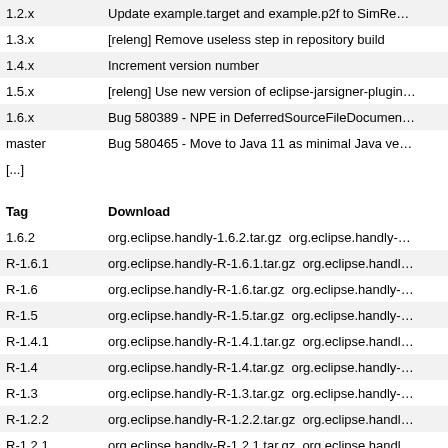| Branch |  |
| --- | --- |
| 1.2.x | Update example.target and example.p2f to SimRe... |
| 1.3.x | [releng] Remove useless step in repository build |
| 1.4.x | Increment version number |
| 1.5.x | [releng] Use new version of eclipse-jarsigner-plugin... |
| 1.6.x | Bug 580389 - NPE in DeferredSourceFileDocumen... |
| master | Bug 580465 - Move to Java 11 as minimal Java ve... |
| [...] |  |
| Tag | Download |
| --- | --- |
| 1.6.2 | org.eclipse.handly-1.6.2.tar.gz  org.eclipse.handly-... |
| R-1.6.1 | org.eclipse.handly-R-1.6.1.tar.gz  org.eclipse.handl... |
| R-1.6 | org.eclipse.handly-R-1.6.tar.gz  org.eclipse.handly-... |
| R-1.5 | org.eclipse.handly-R-1.5.tar.gz  org.eclipse.handly-... |
| R-1.4.1 | org.eclipse.handly-R-1.4.1.tar.gz  org.eclipse.handl... |
| R-1.4 | org.eclipse.handly-R-1.4.tar.gz  org.eclipse.handly-... |
| R-1.3 | org.eclipse.handly-R-1.3.tar.gz  org.eclipse.handly-... |
| R-1.2.2 | org.eclipse.handly-R-1.2.2.tar.gz  org.eclipse.handl... |
| R-1.2.1 | org.eclipse.handly-R-1.2.1.tar.gz  org.eclipse.handl... |
| R-1.2 | org.eclipse.handly-R-1.2.tar.gz  org.eclipse.handly-... |
| [...] |  |